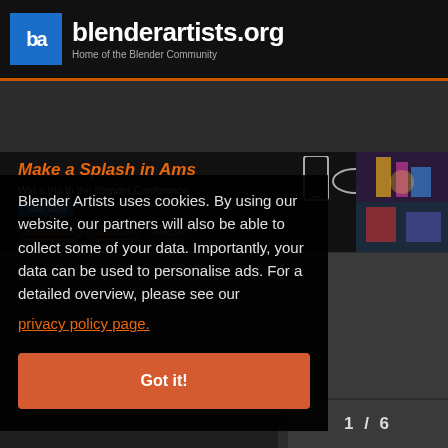blenderartists.org — Home of the Blender Community
[Figure (screenshot): Banner ad: Make a Splash in Ams — Win a trip to the Blender Conference. JOIN NOW button. Tags: #Blenderartists, @Sketchfab. Decorative geometric/phone icons visible.]
Blender Artists uses cookies. By using our website, our partners will also be able to collect some of your data. Importantly, your data can be used to personalise ads. For a detailed overview, please see our
privacy policy page.
Got it!
1 / 6